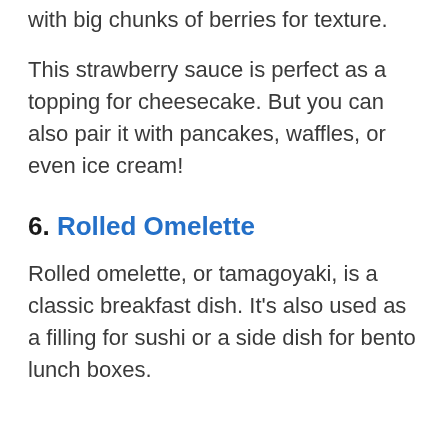with big chunks of berries for texture.
This strawberry sauce is perfect as a topping for cheesecake. But you can also pair it with pancakes, waffles, or even ice cream!
6. Rolled Omelette
Rolled omelette, or tamagoyaki, is a classic breakfast dish. It's also used as a filling for sushi or a side dish for bento lunch boxes.